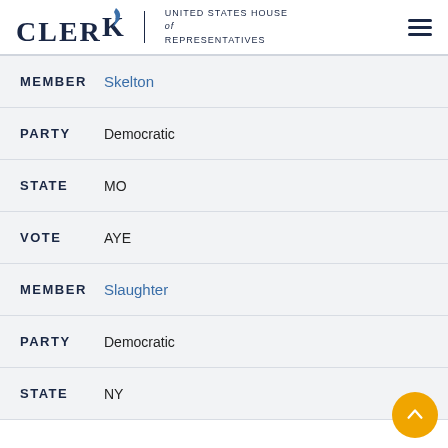CLERK United States House of Representatives
MEMBER Skelton
PARTY Democratic
STATE MO
VOTE AYE
MEMBER Slaughter
PARTY Democratic
STATE NY